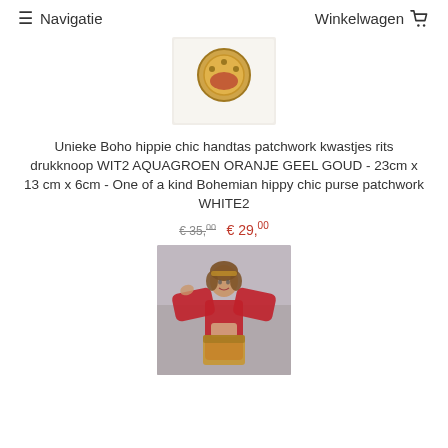≡ Navigatie   Winkelwagen 🛒
[Figure (photo): Close-up photo of a decorative boho bag clasp/buckle with gold and red details on white background]
Unieke Boho hippie chic handtas patchwork kwastjes rits drukknoop WIT2 AQUAGROEN ORANJE GEEL GOUD - 23cm x 13 cm x 6cm - One of a kind Bohemian hippy chic purse patchwork WHITE2
€ 35,00  € 29,00
[Figure (photo): Woman in red belly dance outfit posing outdoors]